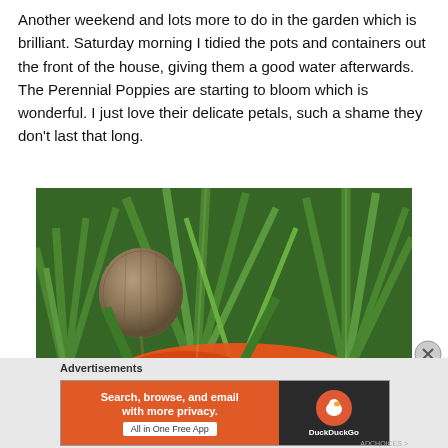Another weekend and lots more to do in the garden which is brilliant. Saturday morning I tidied the pots and containers out the front of the house, giving them a good water afterwards. The Perennial Poppies are starting to bloom which is wonderful. I just love their delicate petals, such a shame they don't last that long.
[Figure (photo): Close-up photograph of a garden scene showing a round poppy seed head (bud) among green leaves (likely lupine foliage), with an orange poppy flower visible at the bottom of the frame.]
Advertisements
[Figure (screenshot): DuckDuckGo advertisement banner. Left side in orange: 'Search, browse, and email with more privacy. All in One Free App'. Right side in dark: DuckDuckGo logo with duck icon.]